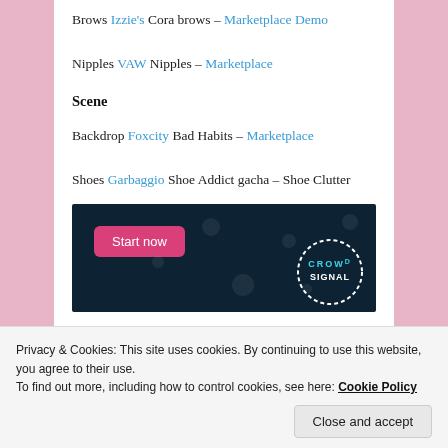Brows Izzie's Cora brows – Marketplace Demo
Nipples VAW Nipples – Marketplace
Scene
Backdrop Foxcity Bad Habits – Marketplace
Shoes Garbaggio Shoe Addict gacha – Shoe Clutter
[Figure (screenshot): Dark blue advertisement banner with 'Start now' pink button and a circular 'Crowd' logo in the bottom right corner with decorative dots]
Privacy & Cookies: This site uses cookies. By continuing to use this website, you agree to their use.
To find out more, including how to control cookies, see here: Cookie Policy
Close and accept